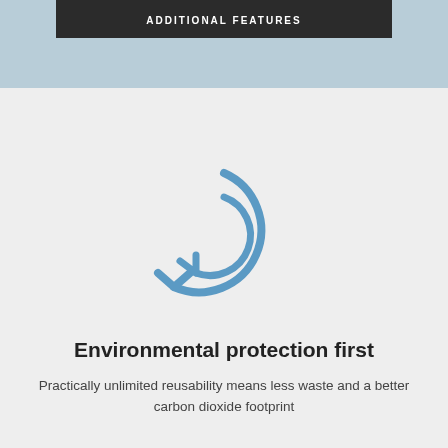ADDITIONAL FEATURES
[Figure (illustration): A circular refresh/reuse arrow icon in blue outline style, indicating reusability and recycling]
Environmental protection first
Practically unlimited reusability means less waste and a better carbon dioxide footprint